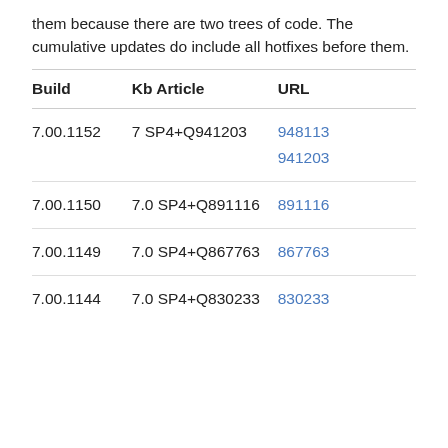them because there are two trees of code. The cumulative updates do include all hotfixes before them.
| Build | Kb Article | URL |
| --- | --- | --- |
| 7.00.1152 | 7 SP4+Q941203 | 948113
941203 |
| 7.00.1150 | 7.0 SP4+Q891116 | 891116 |
| 7.00.1149 | 7.0 SP4+Q867763 | 867763 |
| 7.00.1144 | 7.0 SP4+Q830233 | 830233 |